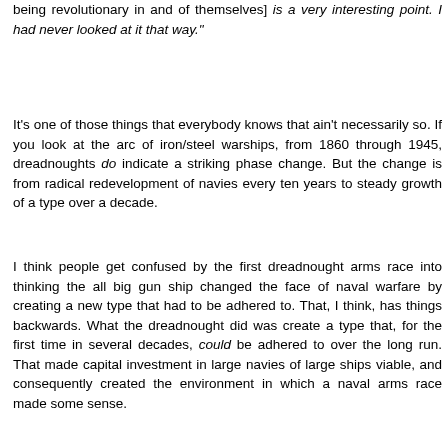being revolutionary in and of themselves] is a very interesting point. I had never looked at it that way."
It's one of those things that everybody knows that ain't necessarily so. If you look at the arc of iron/steel warships, from 1860 through 1945, dreadnoughts do indicate a striking phase change. But the change is from radical redevelopment of navies every ten years to steady growth of a type over a decade.
I think people get confused by the first dreadnought arms race into thinking the all big gun ship changed the face of naval warfare by creating a new type that had to be adhered to. That, I think, has things backwards. What the dreadnought did was create a type that, for the first time in several decades, could be adhered to over the long run. That made capital investment in large navies of large ships viable, and consequently created the environment in which a naval arms race made some sense.
Reply